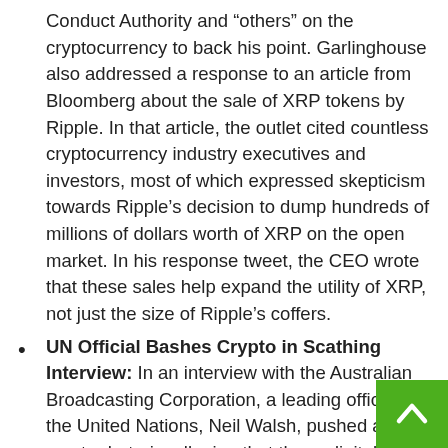Conduct Authority and “others” on the cryptocurrency to back his point. Garlinghouse also addressed a response to an article from Bloomberg about the sale of XRP tokens by Ripple. In that article, the outlet cited countless cryptocurrency industry executives and investors, most of which expressed skepticism towards Ripple’s decision to dump hundreds of millions of dollars worth of XRP on the open market. In his response tweet, the CEO wrote that these sales help expand the utility of XRP, not just the size of Ripple’s coffers.
UN Official Bashes Crypto in Scathing Interview: In an interview with the Australian Broadcasting Corporation, a leading official of the United Nations, Neil Walsh, pushed anti-crypto rhetoric, alleging that these digital assets can be used in criminal activity. Walsh, the leading authority on anti-money laundering and cybercrime at the UN, asserted that cryptocurrencies are “another layer” to the “nightmare” that is criminal activity. He specifically called out child exploitation networks which he opines benefit from digital asset techno…e brought up one case where digital content in which a